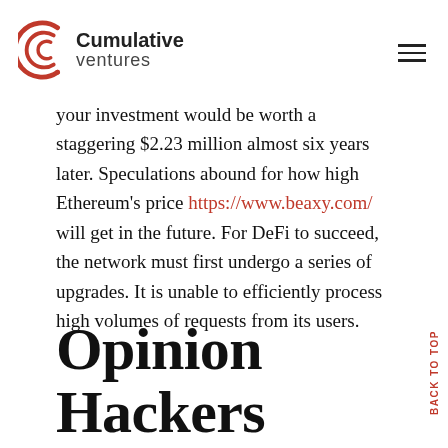[Figure (logo): Cumulative Ventures logo with red circular arc icon and text]
your investment would be worth a staggering $2.23 million almost six years later. Speculations abound for how high Ethereum’s price https://www.beaxy.com/ will get in the future. For DeFi to succeed, the network must first undergo a series of upgrades. It is unable to efficiently process high volumes of requests from its users.
Opinion Hackers And Scammers